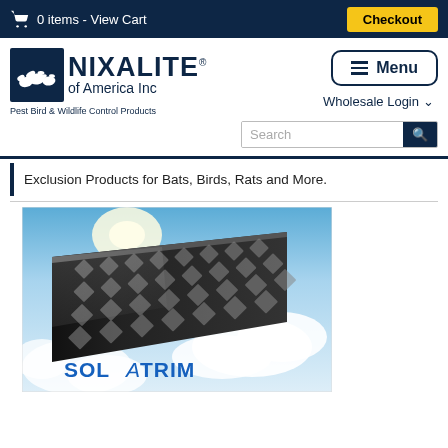0 items - View Cart  Checkout
[Figure (logo): Nixalite of America Inc logo with three bird silhouettes on navy background, text 'NIXALITE® of America Inc', tagline 'Pest Bird & Wildlife Control Products']
Menu
Wholesale Login
Search
Exclusion Products for Bats, Birds, Rats and More.
[Figure (photo): Product photo of SolaTrim solar panel bird exclusion mesh/trim product against a blue sky background with clouds. The product is a long black perforated/diamond-mesh panel shown in perspective. Text 'SOLATRIM' visible in lower left of image.]
SolaTrim Product Page